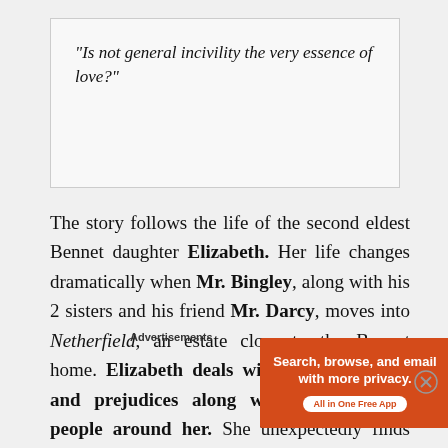“Is not general incivility the very essence of love?”
The story follows the life of the second eldest Bennet daughter Elizabeth. Her life changes dramatically when Mr. Bingley, along with his 2 sisters and his friend Mr. Darcy, moves into Netherfield, an estate close to the Bennet home. Elizabeth deals with her own pride and prejudices along with those of the people around her. She unexpectedly finds herself amid unwanted marriage proposals and drama.
[Figure (other): DuckDuckGo advertisement banner with orange left section reading 'Search, browse, and email with more privacy. All in One Free App' and dark right section with DuckDuckGo duck logo and brand name.]